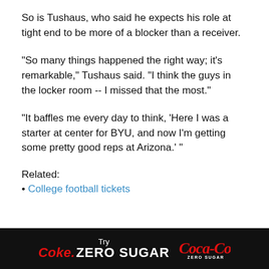So is Tushaus, who said he expects his role at tight end to be more of a blocker than a receiver.
"So many things happened the right way; it's remarkable," Tushaus said. "I think the guys in the locker room -- I missed that the most."
"It baffles me every day to think, 'Here I was a starter at center for BYU, and now I'm getting some pretty good reps at Arizona.' "
Related:
• College football tickets
[Figure (logo): Coca-Cola Zero Sugar advertisement banner on black background with 'Try Coke. ZERO SUGAR' text and Coca-Cola Zero Sugar logo]